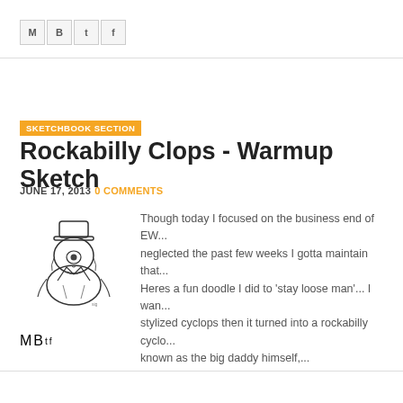[Figure (other): Social share bar with icons for email (M), Blogger (B), Twitter, and Facebook]
SKETCHBOOK SECTION
Rockabilly Clops - Warmup Sketch
JUNE 17, 2013 0 COMMENTS
[Figure (illustration): Pen and ink sketch of a rockabilly cyclops character wearing a hat and jacket]
Though today I focused on the business end of EW... neglected the past few weeks I gotta maintain that... Heres a fun doodle I did to 'stay loose man'... I wan... stylized cyclops then it turned into a rockabilly cyclo... known as the big daddy himself,...
[Figure (other): Social share bar with icons for email (M), Blogger (B), Twitter, and Facebook]